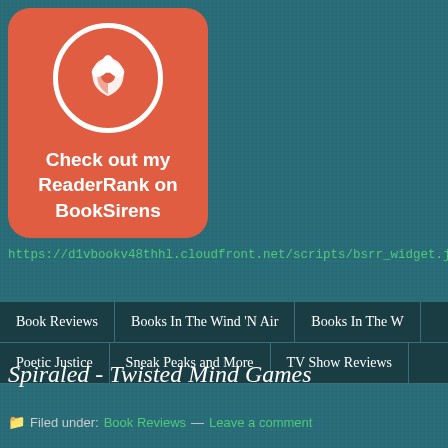[Figure (logo): BookSirens ReaderRank badge widget: rounded orange/coral square with white circle containing a leaf/flower icon, text 'Check out my ReaderRank on BookSirens']
https://d1vbookv48thhl.cloudfront.net/scripts/bsrr_widget.js
| Book Reviews | Books In The Wind 'N Air | Books In The W... |
| Poetic Justice | Sneak Peaks and More | TV Show Reviews... |
Spiraled - Twisted Mind Games
Filed under: Book Reviews — Leave a comment